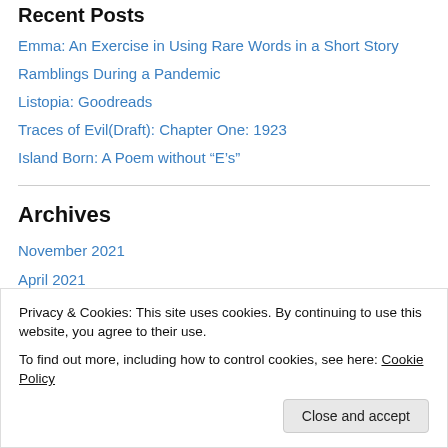Recent Posts
Emma: An Exercise in Using Rare Words in a Short Story
Ramblings During a Pandemic
Listopia: Goodreads
Traces of Evil(Draft): Chapter One: 1923
Island Born: A Poem without “E’s”
Archives
November 2021
April 2021
March 2021
February 2021
April 2017
Privacy & Cookies: This site uses cookies. By continuing to use this website, you agree to their use.
To find out more, including how to control cookies, see here: Cookie Policy
Close and accept